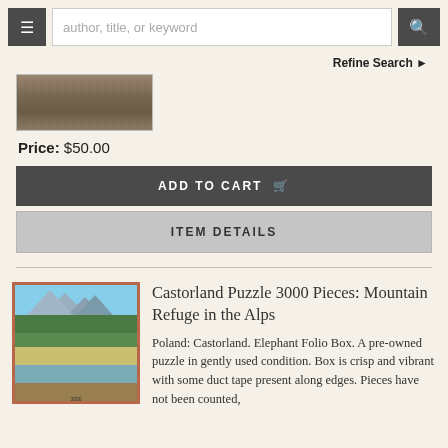author, title, or keyword — Refine Search
[Figure (photo): Partial view of a wooden surface or shelf, cropped at top, showing wood grain texture in brown and tan tones.]
Price: $50.00
ADD TO CART
ITEM DETAILS
Castorland Puzzle 3000 Pieces: Mountain Refuge in the Alps
[Figure (photo): Puzzle box cover showing mountain refuge scene in the Alps with mountains, trees, and a lake reflected in the water. The box has a red-brown border with 'Castorland Puzzle' text at top.]
Poland: Castorland. Elephant Folio Box. A pre-owned puzzle in gently used condition. Box is crisp and vibrant with some duct tape present along edges. Pieces have not been counted,